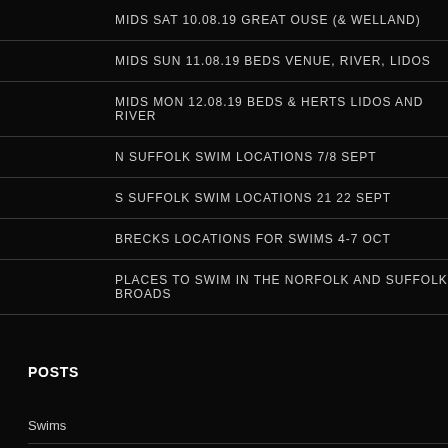MIDS SAT 10.08.19 GREAT OUSE (& WELLAND)
MIDS SUN 11.08.19 BEDS VENUE, RIVER, LIDOS
MIDS MON 12.08.19 BEDS & HERTS LIDOS AND RIVER
N SUFFOLK SWIM LOCATIONS 7/8 SEPT
S SUFFOLK SWIM LOCATIONS 21 22 SEPT
BRECKS LOCATIONS FOR SWIMS 4-7 OCT
PLACES TO SWIM IN THE NORFOLK AND SUFFOLK BROADS
POSTS
Swims
NZ & Aus Swims
Topics